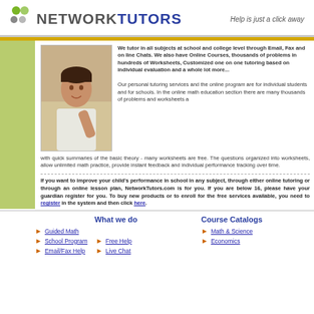[Figure (logo): Network Tutors logo with green and gray dots and text 'NETWORK TUTORS']
Help is just a click away
[Figure (photo): Photo of a young man smiling, posing with hand near face]
We tutor in all subjects at school and college level through Email, Fax and on line Chats. We also have Online Courses, thousands of problems in hundreds of Worksheets, Customized one on one tutoring based on individual evaluation and a whole lot more...
Our personal tutoring services and the online program are for individual students and for schools. In the online math education section there are many thousands of problems and worksheets along with quick summaries of the basic theory - many worksheets are free. The questions organized into worksheets, allow unlimited math practice, provide instant feedback and individual performance tracking over time.
If you want to improve your child's performance in school in any subject, through either online tutoring or through an online lesson plan, NetworkTutors.com is for you. If you are below 16, please have your guardian register for you. To buy new products or to enroll for the free services available, you need to register in the system and then click here.
What we do
Course Catalogs
Guided Math
School Program
Email/Fax Help
Free Help
Live Chat
Math & Science
Economics